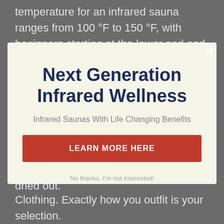temperature for an infrared sauna ranges from 100 °F to 150 °F, with beginners starting at the lower end and also more experienced customers at the greater end. If this is your first time, begin
Next Generation Infrared Wellness
Infrared Saunas With Life Changing Benefits
LEARN MORE HERE
No thanks, I'm not interested!
well lengthy and also risk coming to be dried out.
Clothing. Exactly how you outfit is your selection.